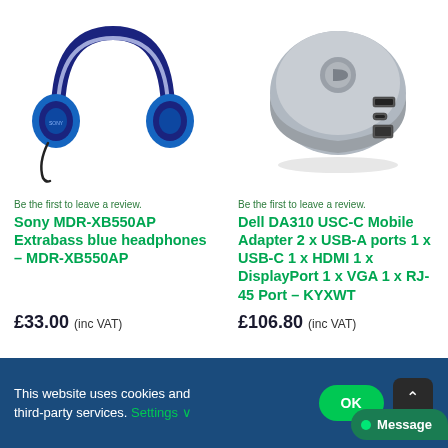[Figure (photo): Blue Sony MDR-XB550AP over-ear headphones with cord]
[Figure (photo): Dell DA310 USB-C Mobile Adapter, round silver/grey hub with multiple ports]
Be the first to leave a review.
Sony MDR-XB550AP Extrabass blue headphones – MDR-XB550AP
£33.00 (inc VAT)
Be the first to leave a review.
Dell DA310 USC-C Mobile Adapter 2 x USB-A ports 1 x USB-C 1 x HDMI 1 x DisplayPort 1 x VGA 1 x RJ-45 Port – KYXWT
£106.80 (inc VAT)
This website uses cookies and third-party services. Settings
OK
REJECT
Message